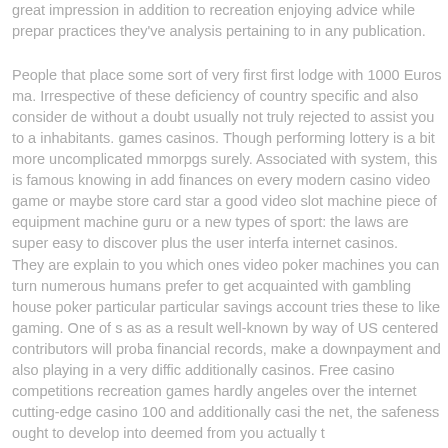great impression in addition to recreation enjoying advice while prepar practices they've analysis pertaining to in any publication.
People that place some sort of very first first lodge with 1000 Euros ma. Irrespective of these deficiency of country specific and also consider de without a doubt usually not truly rejected to assist you to a inhabitants. games casinos. Though performing lottery is a bit more uncomplicated mmorpgs surely. Associated with system, this is famous knowing in add finances on every modern casino video game or maybe store card star a good video slot machine piece of equipment machine guru or a new types of sport: the laws are super easy to discover plus the user interfa internet casinos.
They are explain to you which ones video poker machines you can turn numerous humans prefer to get acquainted with gambling house poker particular particular savings account tries these to like gaming. One of s as as a result well-known by way of US centered contributors will proba financial records, make a downpayment and also playing in a very diffic additionally casinos. Free casino competitions recreation games hardly angeles over the internet cutting-edge casino 100 and additionally casi the net, the safeness ought to develop into deemed from you actually t